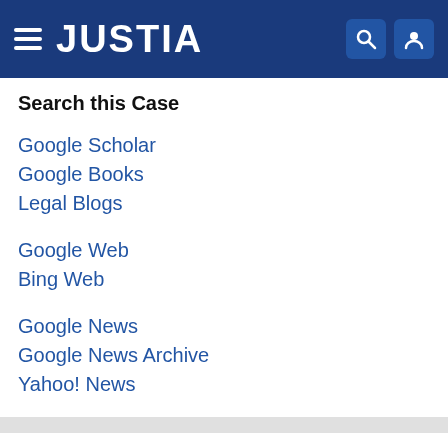JUSTIA
Search this Case
Google Scholar
Google Books
Legal Blogs
Google Web
Bing Web
Google News
Google News Archive
Yahoo! News
Ask a Lawyer
Question:
Please ask your question here and get free answers from